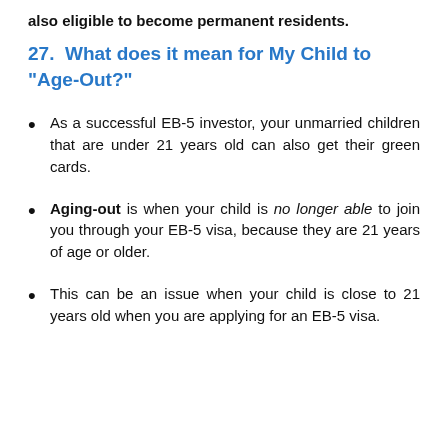also eligible to become permanent residents.
27.  What does it mean for My Child to "Age-Out?"
As a successful EB-5 investor, your unmarried children that are under 21 years old can also get their green cards.
Aging-out is when your child is no longer able to join you through your EB-5 visa, because they are 21 years of age or older.
This can be an issue when your child is close to 21 years old when you are applying for an EB-5 visa.